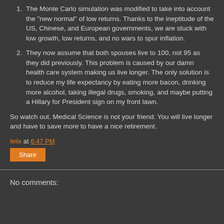The Monte Carlo simulation was modified to take into account the "new normal" of low returns.  Thanks to the ineptitude of the US, Chinese, and European governments, we are stuck with low growth, low returns, and no wars to spur inflation.
They now assume that both spouses live to 100, not 95 as they did previously.  This problem is caused by our damn health care system making us live longer.  The only solution is to reduce my life expectancy by eating more bacon, drinking more alcohol, taking illegal drugs, smoking, and maybe putting a Hillary for President sign on my front lawn.
So watch out.  Medical Science is not your friend.  You will live longer and have to save more to have a nice retirement.
felix at 6:47 PM
Share
No comments: